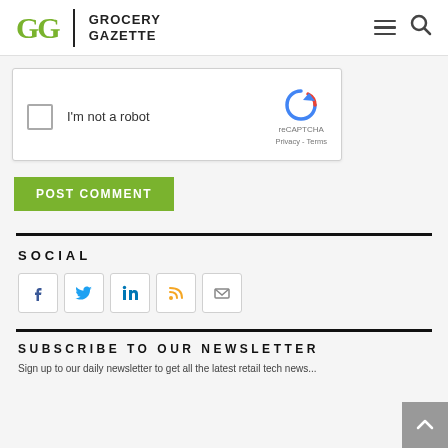Grocery Gazette
[Figure (screenshot): reCAPTCHA widget with checkbox labeled 'I'm not a robot' and reCAPTCHA logo with Privacy and Terms links]
POST COMMENT
SOCIAL
[Figure (infographic): Row of social media icon buttons: Facebook, Twitter, LinkedIn, RSS, Email]
SUBSCRIBE TO OUR NEWSLETTER
Sign up to our daily newsletter to get all the latest retail tech news...